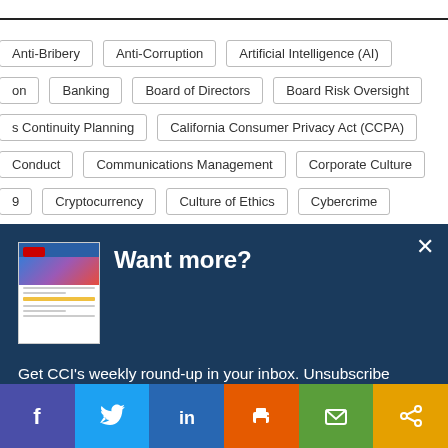Anti-Bribery
Anti-Corruption
Artificial Intelligence (AI)
on
Banking
Board of Directors
Board Risk Oversight
s Continuity Planning
California Consumer Privacy Act (CCPA)
Conduct
Communications Management
Corporate Culture
9
Cryptocurrency
Culture of Ethics
Cybercrime
Want more?
Get CCI's weekly round-up in your inbox. Unsubscribe anytime.
Let's do this!